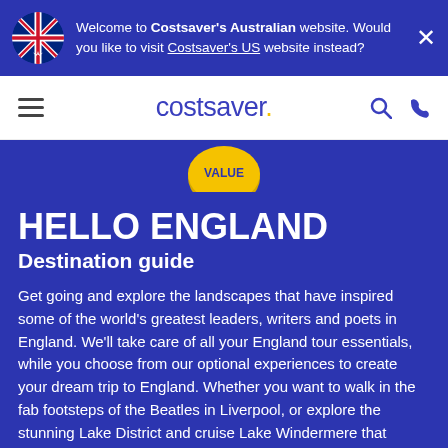Welcome to Costsaver's Australian website. Would you like to visit Costsaver's US website instead?
[Figure (logo): Costsaver logo with hamburger menu, search, and phone icons in navigation bar]
[Figure (illustration): Golden VALUE badge/seal at top of blue content area]
HELLO ENGLAND
Destination guide
Get going and explore the landscapes that have inspired some of the world's greatest leaders, writers and poets in England. We'll take care of all your England tour essentials, while you choose from our optional experiences to create your dream trip to England. Whether you want to walk in the fab footsteps of the Beatles in Liverpool, or explore the stunning Lake District and cruise Lake Windermere that inspired Beatrix Potter, you'll